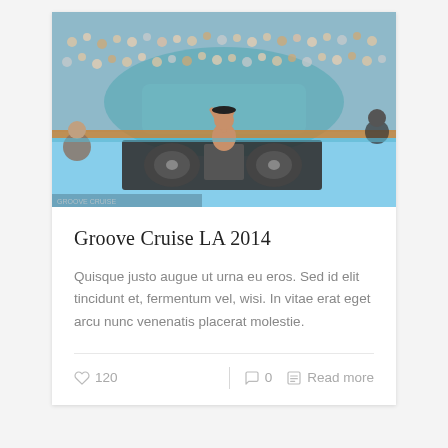[Figure (photo): Fisheye lens photo of a DJ performing on the deck of a cruise ship, with a large crowd of people and a swimming pool visible in the background. The DJ is shirtless with tattoos and wearing a cap, with one arm raised. DJ equipment is visible in the foreground.]
Groove Cruise LA 2014
Quisque justo augue ut urna eu eros. Sed id elit tincidunt et, fermentum vel, wisi. In vitae erat eget arcu nunc venenatis placerat molestie.
♡ 120   |   ○ 0   ☰ Read more